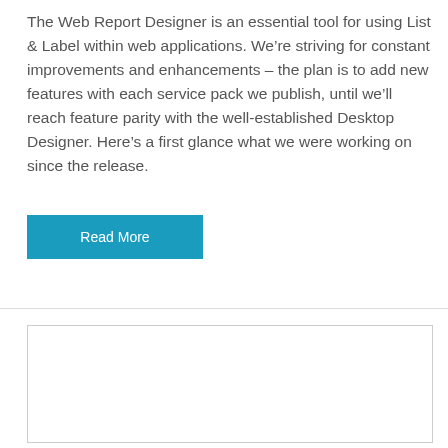The Web Report Designer is an essential tool for using List & Label within web applications. We're striving for constant improvements and enhancements – the plan is to add new features with each service pack we publish, until we'll reach feature parity with the well-established Desktop Designer. Here's a first glance what we were working on since the release.
Read More
[Figure (other): Empty white rectangle with a thin border, representing a placeholder image or content area]